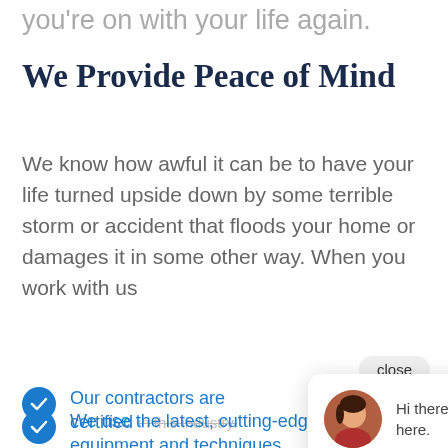you're on with your life again.
We Provide Peace of Mind
We know how awful it can be to have your life turned upside down by some terrible storm or accident that floods your home or damages it in some other way. When you work with us
[Figure (other): Chat popup overlay with close button, woman avatar, and message 'Hi there, have a question? Text us here.']
Our contractors are certified in this industry.
We use the latest, cutting-edge equipment and techniques.